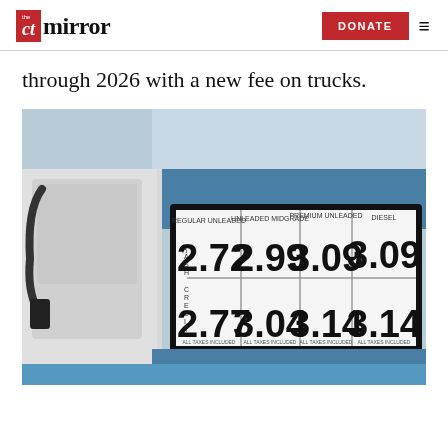the CT mirror | DONATE
through 2026 with a new fee on trucks.
[Figure (photo): Gas station price sign showing prices: Regular Unleaded Cash 2.72 / Credit 2.77, Unleaded Midgrade Cash 2.99 / Credit 3.04, Premium Unleaded Cash 3.09 / Credit 3.14, Diesel Cash 3.09 / Credit 3.14, all taxes included signs at the bottom]